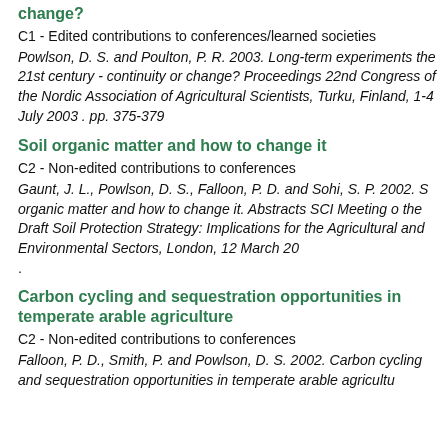change?
C1 - Edited contributions to conferences/learned societies
Powlson, D. S. and Poulton, P. R. 2003. Long-term experiments the 21st century - continuity or change? Proceedings 22nd Congress of the Nordic Association of Agricultural Scientists, Turku, Finland, 1-4 July 2003 . pp. 375-379
Soil organic matter and how to change it
C2 - Non-edited contributions to conferences
Gaunt, J. L., Powlson, D. S., Falloon, P. D. and Sohi, S. P. 2002. S organic matter and how to change it. Abstracts SCI Meeting o the Draft Soil Protection Strategy: Implications for the Agricultural and Environmental Sectors, London, 12 March 20 .
Carbon cycling and sequestration opportunities in temperate arable agriculture
C2 - Non-edited contributions to conferences
Falloon, P. D., Smith, P. and Powlson, D. S. 2002. Carbon cycling and sequestration opportunities in temperate arable agricultu